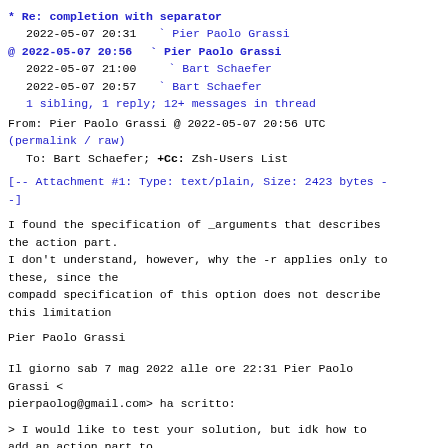* Re: completion with separator
  2022-05-07 20:31    Pier Paolo Grassi
@ 2022-05-07 20:56    Pier Paolo Grassi
  2022-05-07 21:00      Bart Schaefer
  2022-05-07 20:57    Bart Schaefer
  1 sibling, 1 reply; 12+ messages in thread
From: Pier Paolo Grassi @ 2022-05-07 20:56 UTC
(permalink / raw)
  To: Bart Schaefer; +Cc: Zsh-Users List
[-- Attachment #1: Type: text/plain, Size: 2423 bytes --]
I found the specification of _arguments that describes
the action part.
I don't understand, however, why the -r applies only to
these, since the
compadd specification of this option does not describe
this limitation
Pier Paolo Grassi
Il giorno sab 7 mag 2022 alle ore 22:31 Pier Paolo
Grassi <
pierpaolog@gmail.com> ha scritto:
> I would like to test your solution, but idk how to
add an action part to